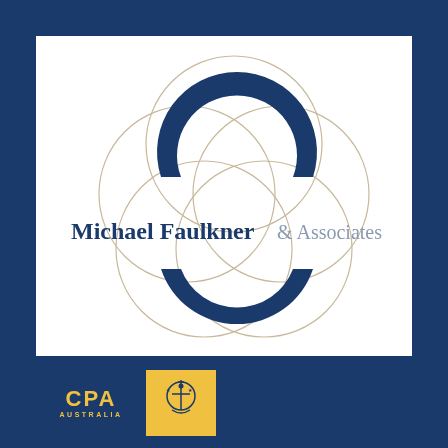[Figure (logo): Michael Faulkner & Associates logo: dark navy blue C-shaped arc symbol with overlapping beige/tan circles in background, with company name 'Michael Faulkner & Associates' in navy and gray text]
[Figure (logo): CPA Australia logo: blue rectangle with yellow 'CPA' text and 'AUSTRALIA' below, adjacent yellow rectangle with CPA Australia crest/seal]